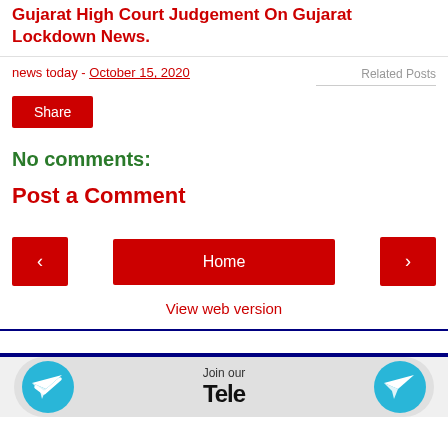Gujarat High Court Judgement On Gujarat Lockdown News.
news today - October 15, 2020
Related Posts
Share
No comments:
Post a Comment
< Home > View web version
[Figure (infographic): Telegram channel join banner with two Telegram icons and 'Join our Tele...' text]